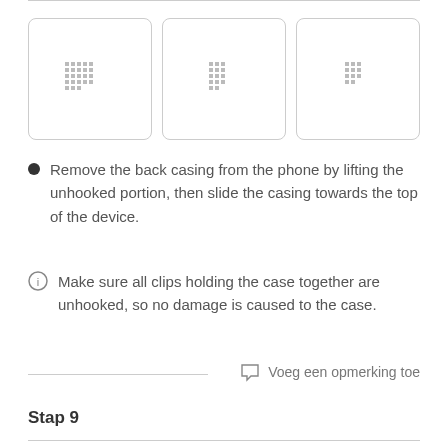[Figure (photo): Three thumbnail images side by side showing a phone back casing removal step]
Remove the back casing from the phone by lifting the unhooked portion, then slide the casing towards the top of the device.
Make sure all clips holding the case together are unhooked, so no damage is caused to the case.
Voeg een opmerking toe
Stap 9